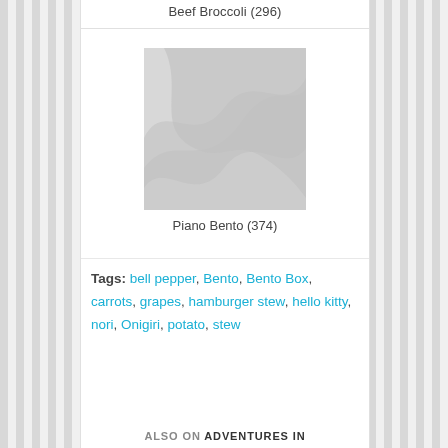Beef Broccoli (296)
[Figure (photo): Placeholder image with gray background and subtle wave/swirl design]
Piano Bento (374)
Tags: bell pepper, Bento, Bento Box, carrots, grapes, hamburger stew, hello kitty, nori, Onigiri, potato, stew
ALSO ON ADVENTURES IN